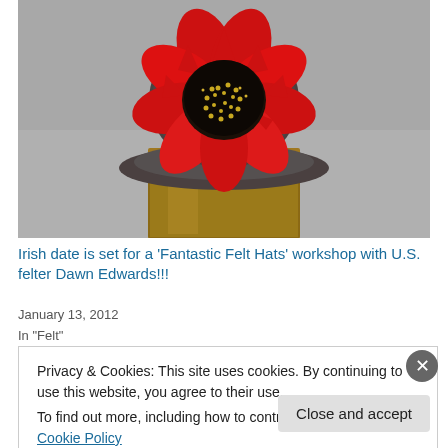[Figure (photo): A felt hat decorated with a large red flower (sunflower-style) with a dark center embellished with gold beads, sitting on a brown pedestal/stand against a gray background.]
Irish date is set for a ‘Fantastic Felt Hats’ workshop with U.S. felter Dawn Edwards!!!
January 13, 2012
In “Felt”
Privacy & Cookies: This site uses cookies. By continuing to use this website, you agree to their use.
To find out more, including how to control cookies, see here: Cookie Policy